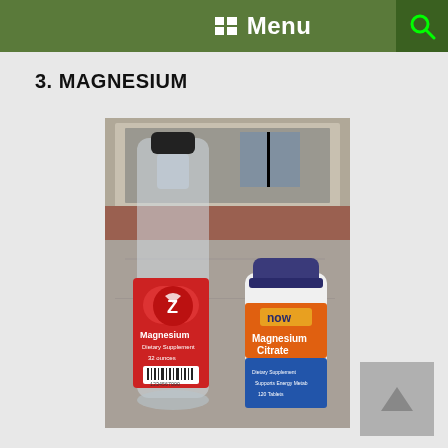Menu
3.  MAGNESIUM
[Figure (photo): Photo of two magnesium supplement products on a countertop: a large clear plastic WaterOz Magnesium dietary supplement bottle (empty, with red label) and a smaller NOW Magnesium Citrate supplement bottle with orange and blue label, both sitting on a granite-style bathroom counter with a mirror visible in the background.]